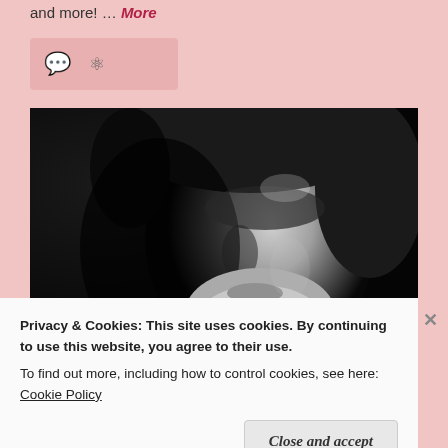and more! … More
[Figure (screenshot): Icon bar with chat bubble and share/link icons on pink background]
[Figure (photo): Black and white portrait photo of a young man with stubble looking upward and to the side]
Privacy & Cookies: This site uses cookies. By continuing to use this website, you agree to their use.
To find out more, including how to control cookies, see here: Cookie Policy
Close and accept